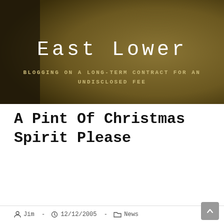[Figure (photo): Website header banner with dark olive/brown textured background (fabric or canvas texture). Contains the site title 'East Lower' and tagline 'BLOGGING ON A LONG-TERM CONTRACT FOR AN UNDISCLOSED FEE'.]
East Lower
BLOGGING ON A LONG-TERM CONTRACT FOR AN UNDISCLOSED FEE
A Pint Of Christmas Spirit Please
Jim - 12/12/2005 - News